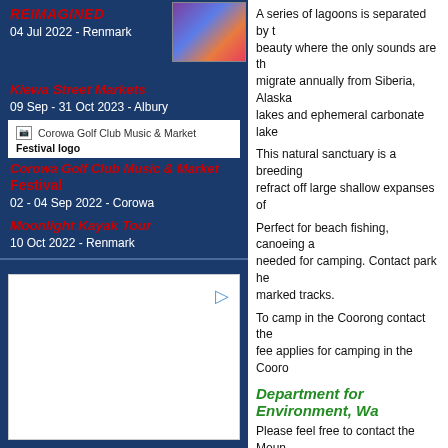REIMAGINED
04 Jul 2022 - Renmark
Kiewa Street Markets
09 Sep - 31 Oct 2023 - Albury
[Figure (logo): Corowa Golf Club Music & Market Festival logo]
Corowa Golf Club Music & Market Festival
02 - 04 Sep 2022 - Corowa
Moonlight Kayak Tour
10 Oct 2022 - Renmark
[Figure (photo): Event promotional image with colorful artistic design]
[Figure (other): Advertisement block with play icon]
A series of lagoons is separated by t... beauty where the only sounds are th... migrate annually from Siberia, Alaska... lakes and ephemeral carbonate lake...
This natural sanctuary is a breeding ... refract off large shallow expanses of ...
Perfect for beach fishing, canoeing a... needed for camping. Contact park he... marked tracks.
To camp in the Coorong contact the ... fee applies for camping in the Cooro...
Department for Environment, Wa...
Please feel free to contact the Moun... information.
Camping Fees - for the Coorong N...